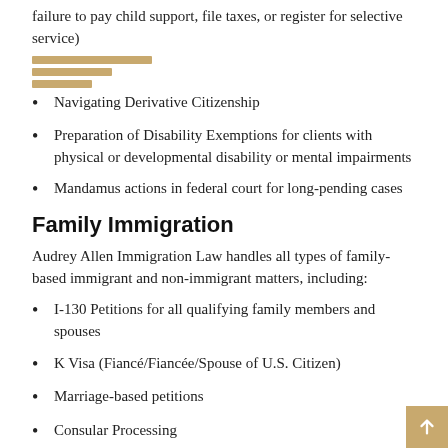failure to pay child support, file taxes, or register for selective service)
Navigating Derivative Citizenship
Preparation of Disability Exemptions for clients with physical or developmental disability or mental impairments
Mandamus actions in federal court for long-pending cases
Family Immigration
Audrey Allen Immigration Law handles all types of family-based immigrant and non-immigrant matters, including:
I-130 Petitions for all qualifying family members and spouses
K Visa (Fiancé/Fiancée/Spouse of U.S. Citizen)
Marriage-based petitions
Consular Processing
Adjustment of Status
Advance Parole
Work Permit